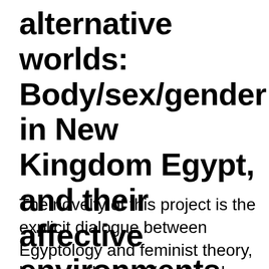alternative worlds: Body/sex/gender in New Kingdom Egypt, and their affective environments
The novelty of this project is the explicit dialogue between Egyptology and feminist theory, between the body/sex/gender divide (present theory) and the empirical